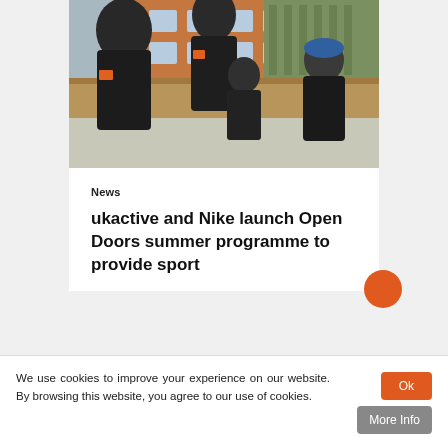[Figure (photo): Children and an adult in dark sports kit with orange UK logos running outdoors in front of a brick school building and wooden fence]
News
ukactive and Nike launch Open Doors summer programme to provide sport
We use cookies to improve your experience on our website. By browsing this website, you agree to our use of cookies.